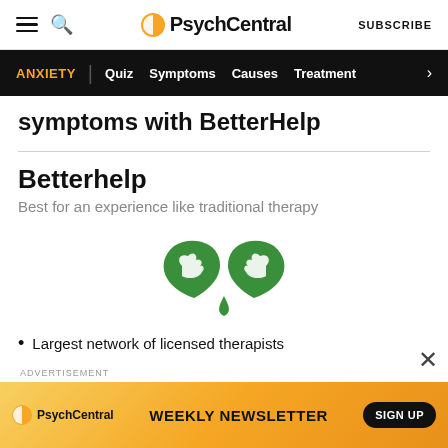PsychCentral | SUBSCRIBE
ANXIETY | Quiz | Symptoms | Causes | Treatment
symptoms with BetterHelp
Betterhelp
Best for an experience like traditional therapy
[Figure (logo): BetterHelp logo: two green leaf shapes with white hand silhouettes forming a caring gesture]
Largest network of licensed therapists
ADVERTISEMENT
[Figure (infographic): PsychCentral weekly newsletter advertisement banner with orange/yellow gradient background, PsychCentral logo, WEEKLY NEWSLETTER text, and SIGN UP button]